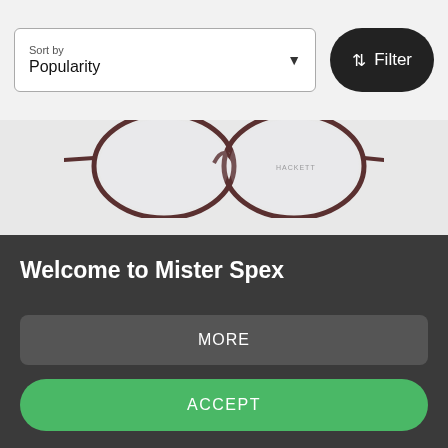[Figure (screenshot): Sort by Popularity dropdown selector and Filter button at top of page]
[Figure (photo): Partial view of round metal eyeglasses frames (Hackett brand) on light grey background]
Welcome to Mister Spex
Mister Spex wants to offer you the best possible user experience. So that we can optimize our services for you, we use cookies and similar technologies (tools) for usage analysis, marketing purposes and for integration of external content. By clicking "Accept", you consent to the use of cookies and other technologies to process your data, including the transfer to our external partners. This may include the processing of your data...
MORE
ACCEPT